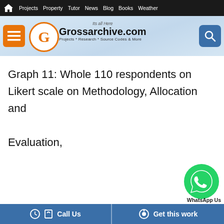Projects  Property  Tutor  News  Blog  Books  Weather
[Figure (logo): Grossarchive.com logo with orange G circle, tagline 'Projects * Research * Source Codes & More', 'Its all Here' subtitle]
Graph 11: Whole 110 respondents on Likert scale on Methodology, Allocation and Evaluation,
Call Us   Get this work